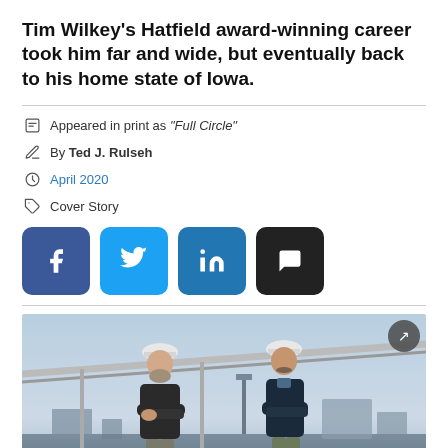Tim Wilkey's Hatfield award-winning career took him far and wide, but eventually back to his home state of Iowa.
Appeared in print as "Full Circle"
By Ted J. Rulseh
April 2020
Cover Story
[Figure (photo): Two men wearing white hard hats standing on an elevated platform or walkway at what appears to be a water/wastewater treatment facility. Both are wearing dark jackets. Industrial infrastructure visible in the background.]